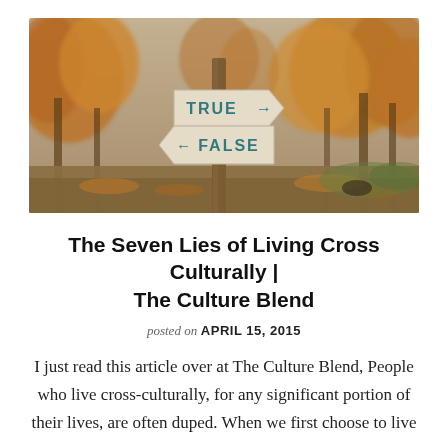[Figure (photo): Outdoor autumn park scene with a wooden signpost showing two directional signs: 'TRUE' pointing right with an arrow, and 'FALSE' pointing left with an arrow. Signs are light-colored with teal/blue lettering. Background shows trees with fall foliage in warm orange and brown tones.]
The Seven Lies of Living Cross Culturally | The Culture Blend
posted on APRIL 15, 2015
I just read this article over at The Culture Blend, People who live cross-culturally, for any significant portion of their lives, are often duped. When we first choose to live as ...